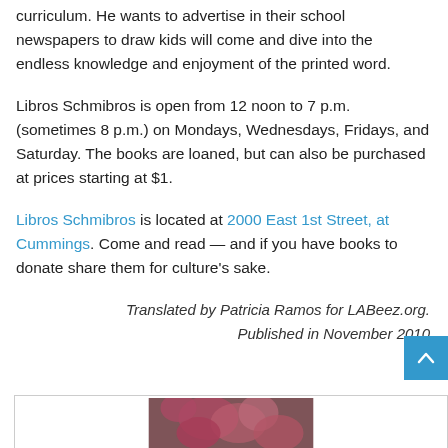curriculum. He wants to advertise in their school newspapers to draw kids will come and dive into the endless knowledge and enjoyment of the printed word.
Libros Schmibros is open from 12 noon to 7 p.m. (sometimes 8 p.m.) on Mondays, Wednesdays, Fridays, and Saturday. The books are loaned, but can also be purchased at prices starting at $1.
Libros Schmibros is located at 2000 East 1st Street, at Cummings. Come and read — and if you have books to donate share them for culture's sake.
Translated by Patricia Ramos for LABeez.org.
Published in November 2010
[Figure (photo): Partial view of a floral image at bottom of page, partially cut off]